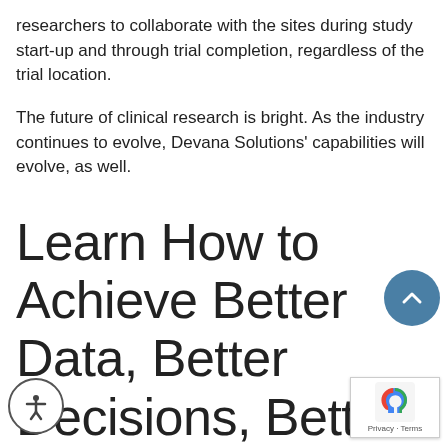researchers to collaborate with the sites during study start-up and through trial completion, regardless of the trial location.
The future of clinical research is bright. As the industry continues to evolve, Devana Solutions' capabilities will evolve, as well.
Learn How to Achieve Better Data, Better Decisions, Better Outcomes